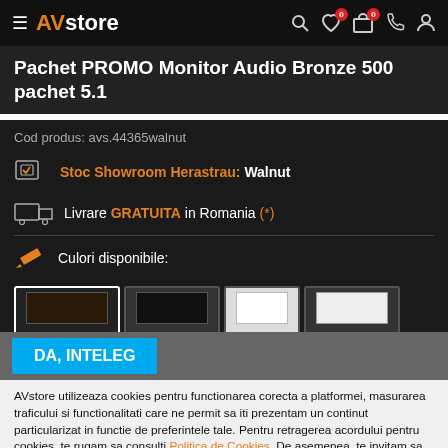AVstore
Pachet PROMO Monitor Audio Bronze 500 pachet 5.1
Cod produs: avs.44365walnut
Stoc Showroom Herastrau: Walnut
Livrare GRATUITA in Romania (*)
Culori disponibile:
Walnut  Negru  Alb
DA, INTELEG
AVstore utilizeaza cookies pentru functionarea corecta a platformei, masurarea traficului si functionalitati care ne permit sa iti prezentam un continut particularizat in functie de preferintele tale. Pentru retragerea acordului pentru cookies, te rugam sa consulti Politica de Cookies. De asemenea, te invitam sa parcurgi Politica noastra de Confidentialitate, ce a devenit aplicabila incepand cu data de 21 August 2018.